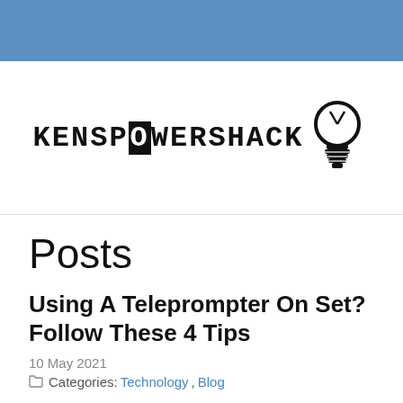[Figure (logo): KensPowerShack logo with lightbulb icon]
Posts
Using A Teleprompter On Set? Follow These 4 Tips
10 May 2021
Categories: Technology, Blog
Are you going to be using a teleprompter for your upcoming video